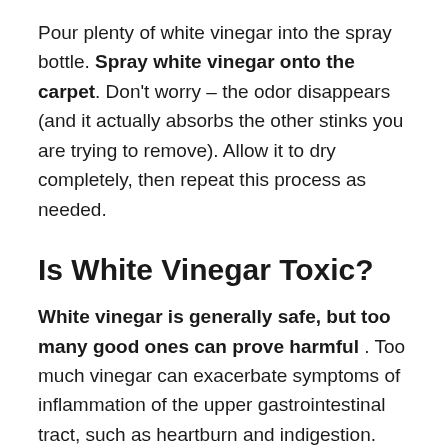Pour plenty of white vinegar into the spray bottle. Spray white vinegar onto the carpet. Don't worry – the odor disappears (and it actually absorbs the other stinks you are trying to remove). Allow it to dry completely, then repeat this process as needed.
Is White Vinegar Toxic?
White vinegar is generally safe, but too many good ones can prove harmful. Too much vinegar can exacerbate symptoms of inflammation of the upper gastrointestinal tract, such as heartburn and indigestion.